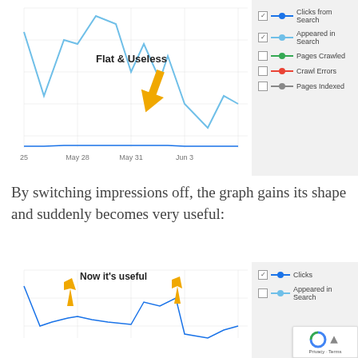[Figure (screenshot): Google Search Console line chart showing 'Clicks from Search' and 'Appeared in Search' metrics from May 25 to Jun 3. The 'Appeared in Search' line is very large (making the chart flat and useless) while 'Clicks from Search' appears flat near zero. A yellow arrow labeled 'Flat & Useless' points to the flat line.]
By switching impressions off, the graph gains its shape and suddenly becomes very useful:
[Figure (screenshot): Google Search Console line chart (bottom, partially visible) showing 'Clicks from Search' only, now with visible shape. Two yellow arrows labeled 'Now it's useful' point to the line. Legend shows only 'Clicks' checked.]